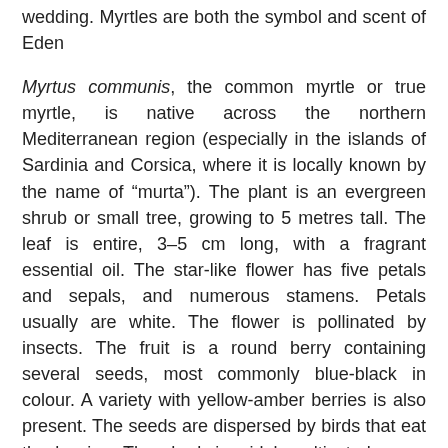wedding. Myrtles are both the symbol and scent of Eden
Myrtus communis, the common myrtle or true myrtle, is native across the northern Mediterranean region (especially in the islands of Sardinia and Corsica, where it is locally known by the name of "murta"). The plant is an evergreen shrub or small tree, growing to 5 metres tall. The leaf is entire, 3–5 cm long, with a fragrant essential oil. The star-like flower has five petals and sepals, and numerous stamens. Petals usually are white. The flower is pollinated by insects. The fruit is a round berry containing several seeds, most commonly blue-black in colour. A variety with yellow-amber berries is also present. The seeds are dispersed by birds that eat the berries. The shrub is widely cultivated as an ornamental plant in gardens and parks. It is often used as a hedge plant, with its small leaves shearing cleanly.